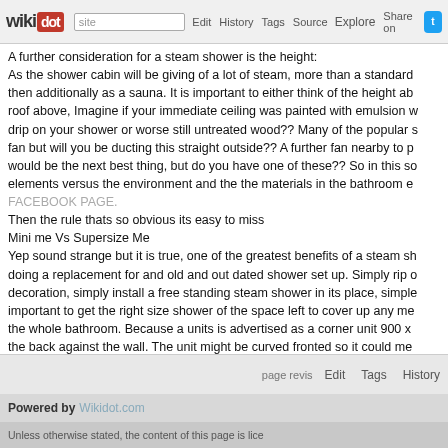wikidot | site Edit History Tags Source Explore Share on Twitter
A further consideration for a steam shower is the height: As the shower cabin will be giving of a lot of steam, more than a standard then additionally as a sauna. It is important to either think of the height ab roof above, Imagine if your immediate ceiling was painted with emulsion w drip on your shower or worse still untreated wood?? Many of the popular s fan but will you be ducting this straight outside?? A further fan nearby to p would be the next best thing, but do you have one of these?? So in this so elements versus the environment and the the materials in the bathroom e FACEBOOK PAGE. Then the rule thats so obvious its easy to miss Mini me Vs Supersize Me Yep sound strange but it is true, one of the greatest benefits of a steam sh doing a replacement for and old and out dated shower set up. Simply rip o decoration, simply install a free standing steam shower in its place, simple important to get the right size shower of the space left to cover up any me the whole bathroom. Because a units is advertised as a corner unit 900 x the back against the wall. The unit might be curved fronted so it could me that curve and less across the wall. Rule is: Measure twice, do the job once
page revis Edit Tags History
Powered by Wikidot.com
Unless otherwise stated, the content of this page is lice